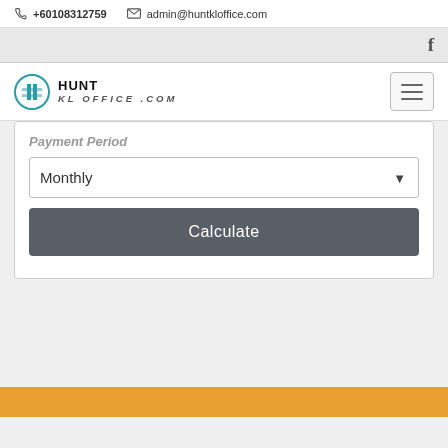+60108312759  admin@huntkloffice.com
[Figure (logo): Hunt KL Office.com logo with building icon]
Payment Period
Monthly
Calculate